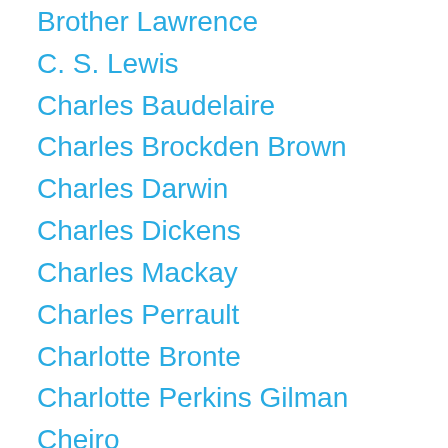Brother Lawrence
C. S. Lewis
Charles Baudelaire
Charles Brockden Brown
Charles Darwin
Charles Dickens
Charles Mackay
Charles Perrault
Charlotte Bronte
Charlotte Perkins Gilman
Cheiro
Children Book
Children's literature